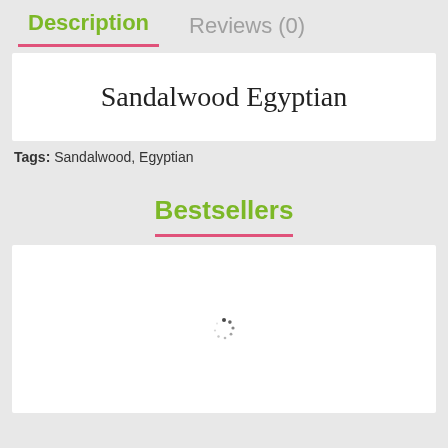Description   Reviews (0)
Sandalwood Egyptian
Tags: Sandalwood, Egyptian
Bestsellers
[Figure (other): Loading spinner / loading indicator dots in bestsellers content area]